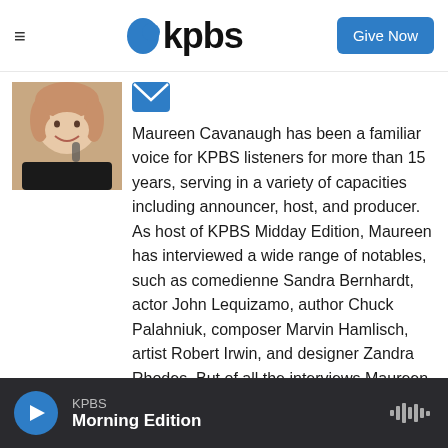≡   kpbs   Give Now
[Figure (photo): Headshot photo of Maureen Cavanaugh, a woman with short blonde/reddish hair, smiling, wearing a dark top, with a microphone visible in background]
[Figure (logo): Blue email/message envelope icon]
Maureen Cavanaugh has been a familiar voice for KPBS listeners for more than 15 years, serving in a variety of capacities including announcer, host, and producer. As host of KPBS Midday Edition, Maureen has interviewed a wide range of notables, such as comedienne Sandra Bernhardt, actor John Lequizamo, author Chuck Palahniuk, composer Marvin Hamlisch, artist Robert Irwin, and designer Zandra Rhodes. But of all the interviews Maureen has conducted, her most special was with His Holiness, the Dalai Lama. Before joining KPBS in 1997, she worked as a
KPBS  Morning Edition